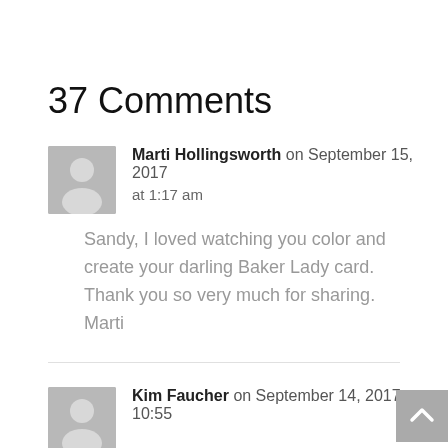37 Comments
Marti Hollingsworth on September 15, 2017 at 1:17 am
Sandy, I loved watching you color and create your darling Baker Lady card. Thank you so very much for sharing. Marti
Kim Faucher on September 14, 2017 at 10:55